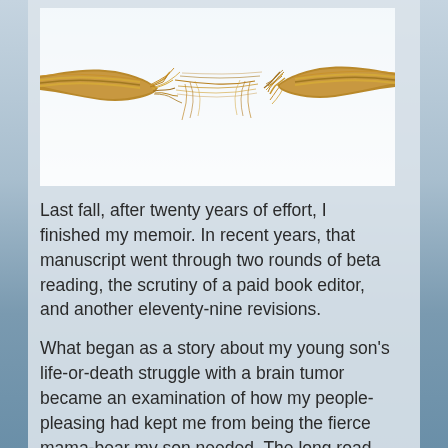[Figure (photo): A frayed rope about to snap, photographed close-up against a white background. The rope is twisted natural fiber and is stretched to breaking point in the middle where strands have separated.]
Last fall, after twenty years of effort, I finished my memoir. In recent years, that manuscript went through two rounds of beta reading, the scrutiny of a paid book editor, and another eleventy-nine revisions.
What began as a story about my young son's life-or-death struggle with a brain tumor became an examination of how my people-pleasing had kept me from being the fierce mama-bear my son needed. The long road to “The End” of this book has been a battle